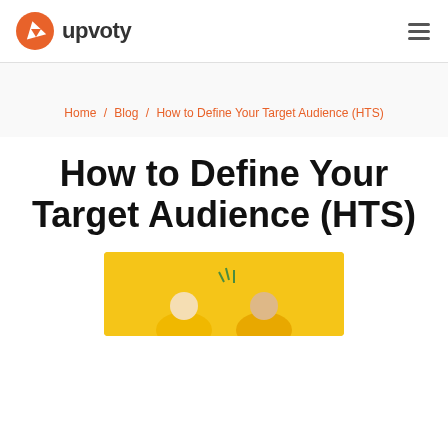upvoty
Home / Blog / How to Define Your Target Audience (HTS)
How to Define Your Target Audience (HTS)
[Figure (illustration): Yellow background illustration showing cartoon figures at the bottom, partially visible]